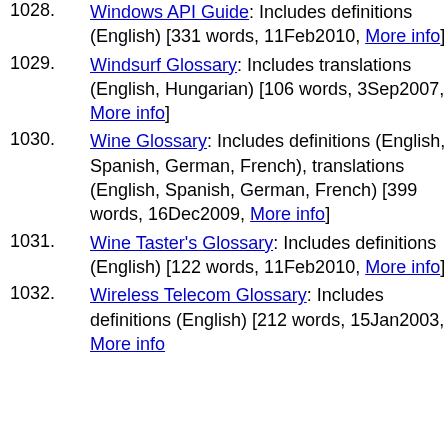1028. Windows API Guide: Includes definitions (English) [331 words, 11Feb2010, More info]
1029. Windsurf Glossary: Includes translations (English, Hungarian) [106 words, 3Sep2007, More info]
1030. Wine Glossary: Includes definitions (English, Spanish, German, French), translations (English, Spanish, German, French) [399 words, 16Dec2009, More info]
1031. Wine Taster's Glossary: Includes definitions (English) [122 words, 11Feb2010, More info]
1032. Wireless Telecom Glossary: Includes definitions (English) [212 words, 15Jan2003, More info]